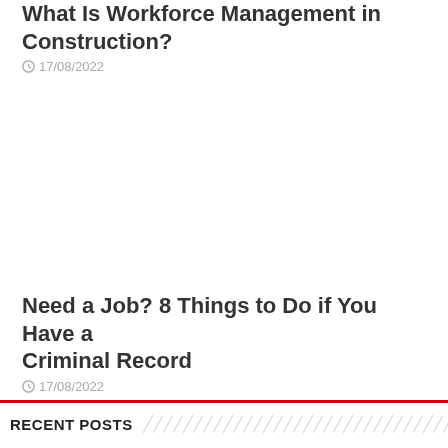What Is Workforce Management in Construction?
17/08/2022
Need a Job? 8 Things to Do if You Have a Criminal Record
17/08/2022
RECENT POSTS